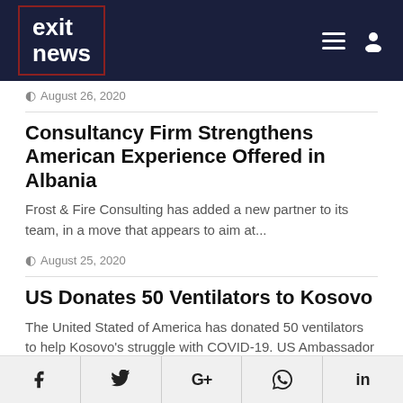exit news
August 26, 2020
Consultancy Firm Strengthens American Experience Offered in Albania
Frost & Fire Consulting has added a new partner to its team, in a move that appears to aim at...
August 25, 2020
US Donates 50 Ventilators to Kosovo
The United Stated of America has donated 50 ventilators to help Kosovo's struggle with COVID-19. US Ambassador Philip Kospett
f  Twitter  G+  WhatsApp  in